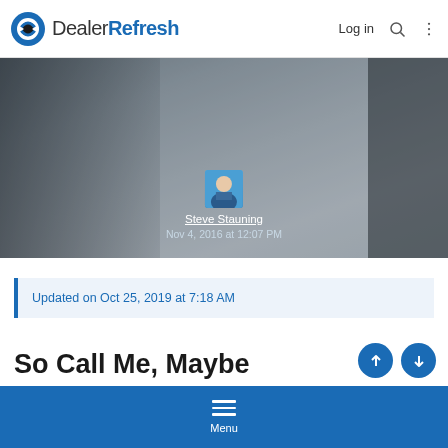DealerRefresh — Log in
[Figure (photo): Hero image of a person using a laptop at a desk, with author avatar and date overlay. Author: Steve Stauning, Date: Nov 4, 2016 at 12:07 PM]
Updated on Oct 25, 2019 at 7:18 AM
So Call Me, Maybe
Menu